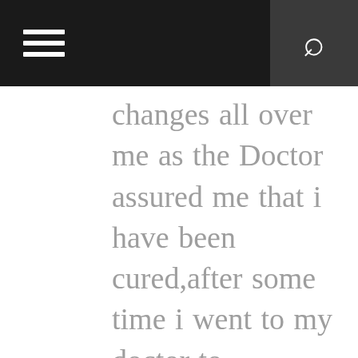☰ 🔍
changes all over me as the Doctor assured me that i have been cured,after some time i went to my doctor to confirmed if i have been finally healed behold it was TRUE, So friends my advise is, if you have such sickness or any other at all like hepatitis A,B,C, CANCER ,HPV, HIV/AIDS ,DIABETES 1 AND 2, PENIS PROBLEM, HIGH BLOOD PRESSURE, WEAK